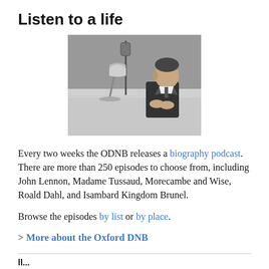Listen to a life
[Figure (photo): Black and white photograph of a man in a suit sitting at a desk in front of a microphone and lamp, with hands clasped, facing right in profile]
Every two weeks the ODNB releases a biography podcast. There are more than 250 episodes to choose from, including John Lennon, Madame Tussaud, Morecambe and Wise, Roald Dahl, and Isambard Kingdom Brunel.
Browse the episodes by list or by place.
> More about the Oxford DNB
ll...